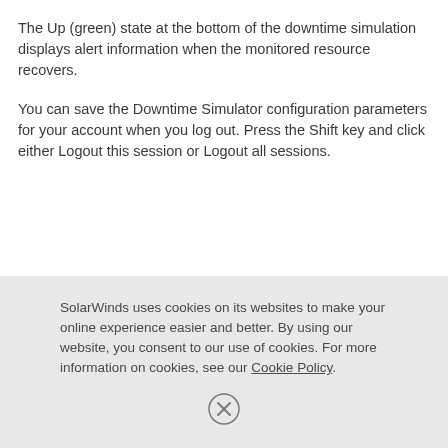The Up (green) state at the bottom of the downtime simulation displays alert information when the monitored resource recovers.
You can save the Downtime Simulator configuration parameters for your account when you log out. Press the Shift key and click either Logout this session or Logout all sessions.
SolarWinds uses cookies on its websites to make your online experience easier and better. By using our website, you consent to our use of cookies. For more information on cookies, see our Cookie Policy.